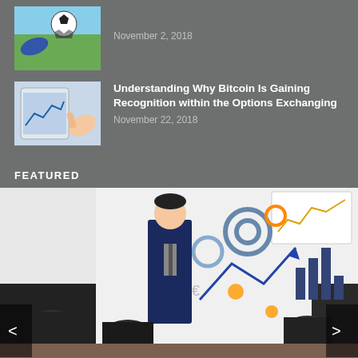[Figure (photo): Soccer ball being kicked in front of green field]
November 2, 2018
[Figure (photo): Person using tablet device with financial charts]
Understanding Why Bitcoin Is Gaining Recognition within the Options Exchanging
November 22, 2018
FEATURED
[Figure (photo): Business presenter in suit standing at whiteboard with financial infographic showing gears, arrows, bar charts, currency symbols. Audience seated at table in foreground.]